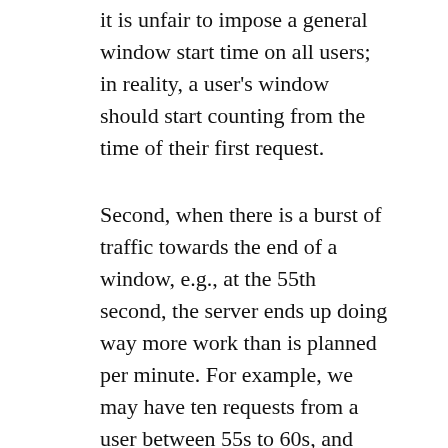it is unfair to impose a general window start time on all users; in reality, a user's window should start counting from the time of their first request.
Second, when there is a burst of traffic towards the end of a window, e.g., at the 55th second, the server ends up doing way more work than is planned per minute. For example, we may have ten requests from a user between 55s to 60s, and another ten from the same user in the next window between 0s to 5s. Thus, the server ends up processing 20 requests in ten seconds for this user.